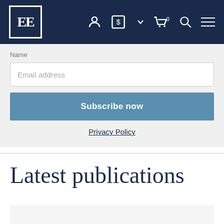[Figure (logo): Edward Elgar Publishing logo — EE letters in white inside a square border on dark navy background, with navigation icons (user, currency, cart, search, menu) on the right]
Name
Email address
Subscribe now
Privacy Policy
Latest publications